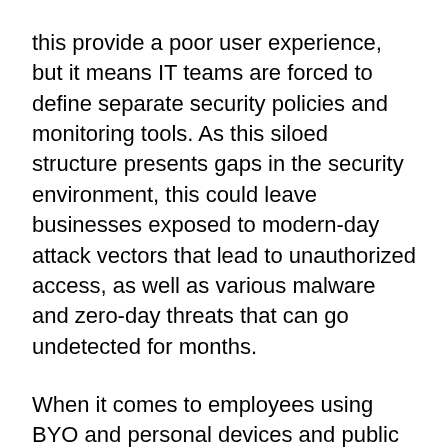this provide a poor user experience, but it means IT teams are forced to define separate security policies and monitoring tools. As this siloed structure presents gaps in the security environment, this could leave businesses exposed to modern-day attack vectors that lead to unauthorized access, as well as various malware and zero-day threats that can go undetected for months.
When it comes to employees using BYO and personal devices and public networks to access corporate apps in the cloud, many IT teams struggle to provide the right security posture against application-level attacks with appliance-based solutions. Unfortunately, solutions such as VPNs have a difficult time detecting if malicious content is being transferred to the corporate